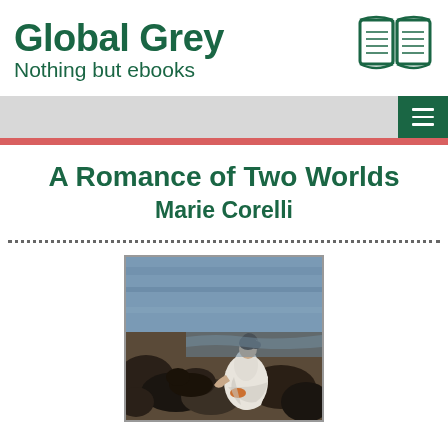Global Grey
Nothing but ebooks
A Romance of Two Worlds
Marie Corelli
[Figure (illustration): Painting of a woman in a white dress seated among dark rocks near water, viewed from the side]